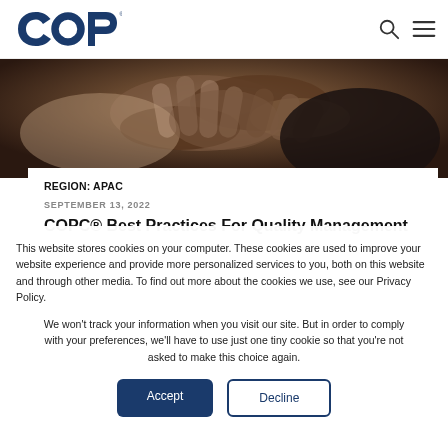COPC logo, search icon, menu icon
[Figure (photo): Close-up photo of two people shaking hands, photographed from above at an angle, dark tones]
REGION: APAC
SEPTEMBER 13, 2022
COPC® Best Practices For Quality Management
This website stores cookies on your computer. These cookies are used to improve your website experience and provide more personalized services to you, both on this website and through other media. To find out more about the cookies we use, see our Privacy Policy.
We won't track your information when you visit our site. But in order to comply with your preferences, we'll have to use just one tiny cookie so that you're not asked to make this choice again.
Accept
Decline